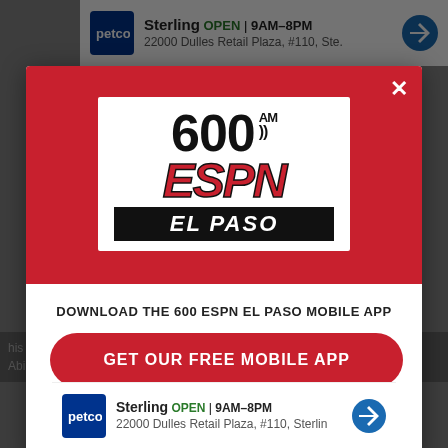[Figure (screenshot): Modal popup overlay on a website. Top red section contains 600 AM ESPN El Paso radio station logo. Bottom white section has download app prompt and Amazon Alexa mention. Background shows a partially visible webpage with Petco ads.]
DOWNLOAD THE 600 ESPN EL PASO MOBILE APP
GET OUR FREE MOBILE APP
Also listen on: amazon alexa